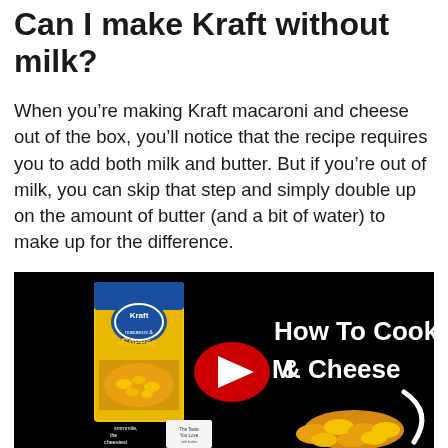Can I make Kraft without milk?
When you’re making Kraft macaroni and cheese out of the box, you’ll notice that the recipe requires you to add both milk and butter. But if you’re out of milk, you can skip that step and simply double up on the amount of butter (and a bit of water) to make up for the difference.
[Figure (screenshot): YouTube video thumbnail for 'How To Cook: Mac & Cheese' featuring a Kraft Macaroni & Cheese box on the left, a YouTube play button in the center, bold white text reading 'How To Cook: Mac & Cheese' on the right, and a plate of macaroni and cheese at the bottom, all on a black background.]